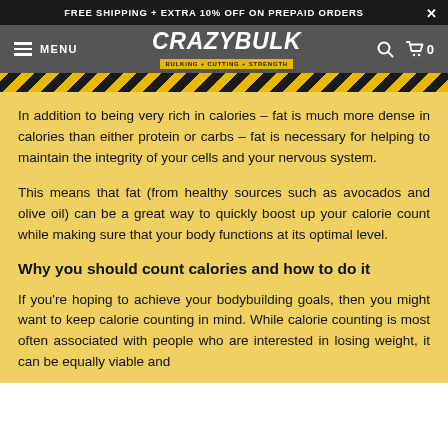FREE SHIPPING + EXTRA 10% OFF ON PREPAID ORDERS
[Figure (logo): CrazyBulk logo with tagline BULKING + CUTTING + STRENGTH on navigation bar]
In addition to being very rich in calories – fat is much more dense in calories than either protein or carbs – fat is necessary for helping to maintain the integrity of your cells and your nervous system.
This means that fat (from healthy sources such as avocados and olive oil) can be a great way to quickly boost up your calorie count while making sure that your body functions at its optimal level.
Why you should count calories and how to do it
If you're hoping to achieve your bodybuilding goals, then you might want to keep calorie counting in mind. While calorie counting is most often associated with people who are interested in losing weight, it can be equally viable and